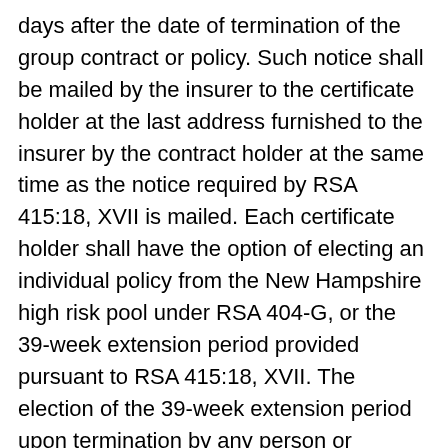days after the date of termination of the group contract or policy. Such notice shall be mailed by the insurer to the certificate holder at the last address furnished to the insurer by the contract holder at the same time as the notice required by RSA 415:18, XVII is mailed. Each certificate holder shall have the option of electing an individual policy from the New Hampshire high risk pool under RSA 404-G, or the 39-week extension period provided pursuant to RSA 415:18, XVII. The election of the 39-week extension period upon termination by any person or member shall not preclude such person or member from electing to exercise the option of obtaining coverage from the New Hampshire high risk pool under RSA 404-G at the expiration of the 39-week extension period.
VII-a. Any employee whose compensation includes group hospital or surgical expense insurance or major medical expense insurance for other than specific diseases or accidents, the premiums for which are paid in full...